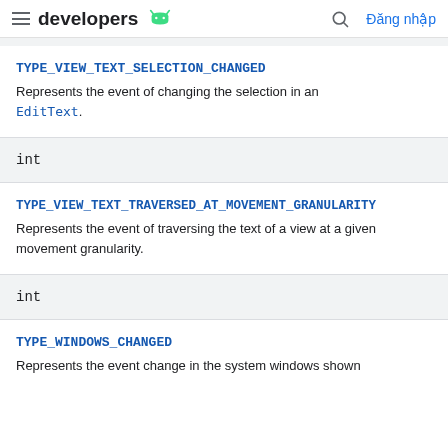developers [android logo] [search] Đăng nhập
TYPE_VIEW_TEXT_SELECTION_CHANGED
Represents the event of changing the selection in an EditText.
int
TYPE_VIEW_TEXT_TRAVERSED_AT_MOVEMENT_GRANULARITY
Represents the event of traversing the text of a view at a given movement granularity.
int
TYPE_WINDOWS_CHANGED
Represents the event change in the system windows shown